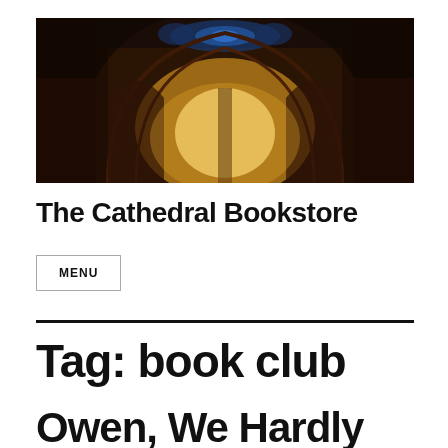[Figure (photo): Cathedral interior photo showing ornate Gothic arches, decorative woodwork, stained glass window at top, and warm light glowing from the center]
The Cathedral Bookstore
MENU
Tag: book club
Owen, We Hardly Kn...